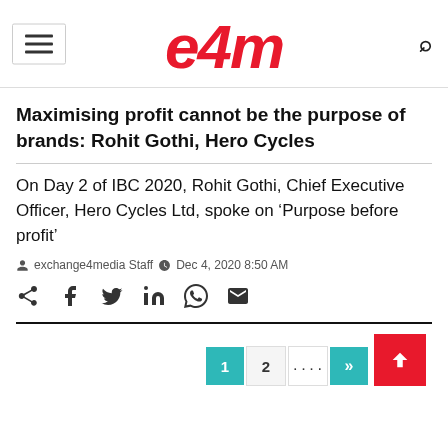e4m
Maximising profit cannot be the purpose of brands: Rohit Gothi, Hero Cycles
On Day 2 of IBC 2020, Rohit Gothi, Chief Executive Officer, Hero Cycles Ltd, spoke on ‘Purpose before profit’
exchange4media Staff  Dec 4, 2020 8:50 AM
[Figure (other): Social sharing icons: share, facebook, twitter, linkedin, whatsapp, email]
Pagination: 1 2 ... >> and back-to-top button